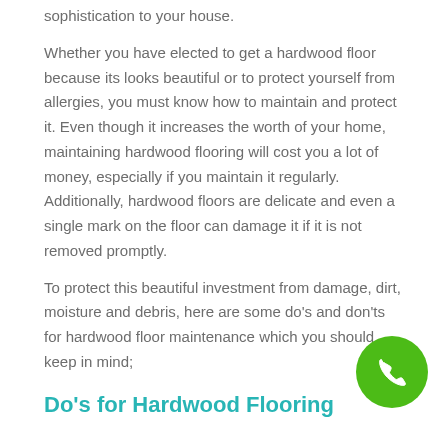sophistication to your house.
Whether you have elected to get a hardwood floor because its looks beautiful or to protect yourself from allergies, you must know how to maintain and protect it. Even though it increases the worth of your home, maintaining hardwood flooring will cost you a lot of money, especially if you maintain it regularly. Additionally, hardwood floors are delicate and even a single mark on the floor can damage it if it is not removed promptly.
To protect this beautiful investment from damage, dirt, moisture and debris, here are some do's and don'ts for hardwood floor maintenance which you should keep in mind;
Do's for Hardwood Flooring